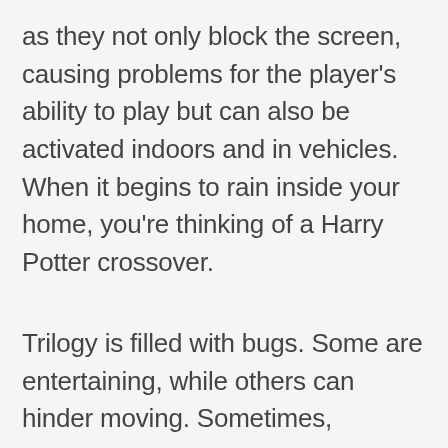as they not only block the screen, causing problems for the player's ability to play but can also be activated indoors and in vehicles. When it begins to rain inside your home, you're thinking of a Harry Potter crossover.
Trilogy is filled with bugs. Some are entertaining, while others can hinder moving. Sometimes,